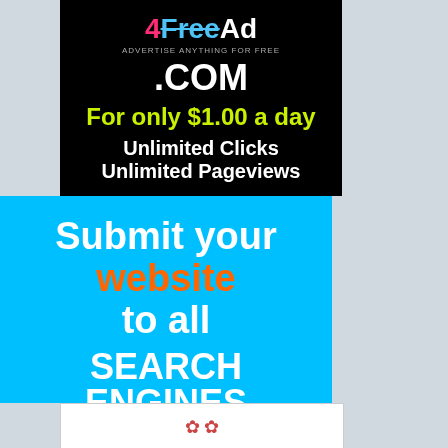[Figure (infographic): Advertisement banner with black background showing '4FreeAd ADVERTISE ANYTHING FOR FREE .COM For only $1.00 a day Unlimited Clicks Unlimited Pageviews']
[Figure (infographic): Advertisement banner with cyan/blue background showing 'Submit your website to all SEARCH ENGINES and DIRECTORIES']
[Figure (infographic): Partial advertisement banner with white background showing floral/decorative design at bottom]